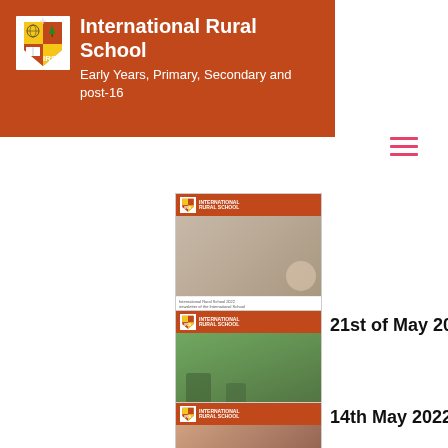International Rural School — Early Years, Primary, Secondary and post-16
[Figure (screenshot): Partially visible newsletter thumbnail at top of listing]
[Figure (screenshot): Newsletter thumbnail for 21st of May 2022 issue]
21st of May 2022
[Figure (screenshot): Newsletter thumbnail for 14th May 2022 issue]
14th May 2022